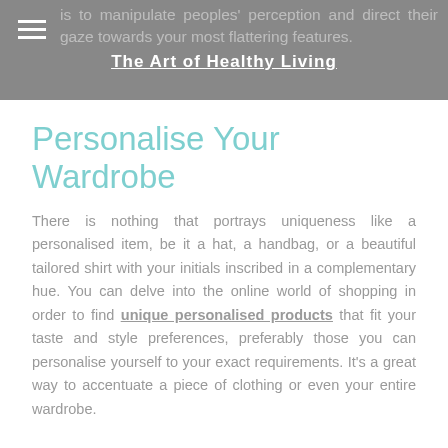is to manipulate peoples' perception and direct their gaze towards your most flattering features.
The Art of Healthy Living
Personalise Your Wardrobe
There is nothing that portrays uniqueness like a personalised item, be it a hat, a handbag, or a beautiful tailored shirt with your initials inscribed in a complementary hue. You can delve into the online world of shopping in order to find unique personalised products that fit your taste and style preferences, preferably those you can personalise yourself to your exact requirements. It's a great way to accentuate a piece of clothing or even your entire wardrobe.